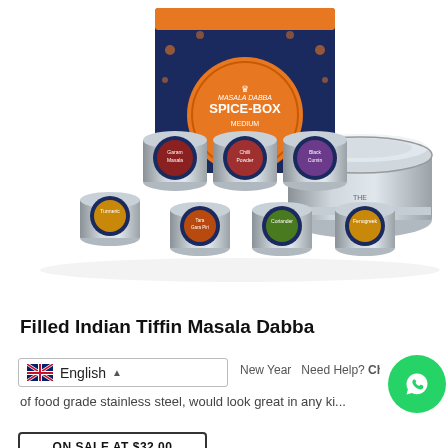[Figure (photo): Product photo showing Masala Dabba Spice-Box set: orange and navy blue box with decorative pattern, seven small silver tin canisters with spice labels (Garam Masala, Chilli Powder, Black Cumin, Turmeric, Tara Gara Piri, Coriander, Fenugreek), and a round stainless steel tiffin container with clear lid]
Filled Indian Tiffin Masala Dabba
English  ▲  New Year   Need Help? Chat with us   cl... of food grade stainless steel, would look great in any ki...
ON SALE AT $32.00